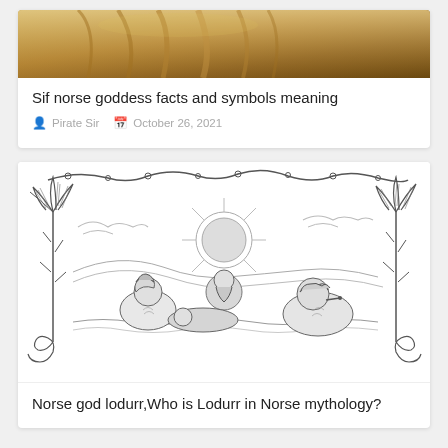[Figure (photo): Partial top image of Norse goddess Sif with golden hair, cropped at top of card]
Sif norse goddess facts and symbols meaning
Pirate Sir  October 26, 2021
[Figure (illustration): Black and white engraving-style illustration of Norse mythology scene with three figures (gods) reclining in a landscape with decorative art nouveau border featuring tall lily/trumpet flowers on left and right sides, with swirling vine decorations at top]
Norse god lodurr,Who is Lodurr in Norse mythology?